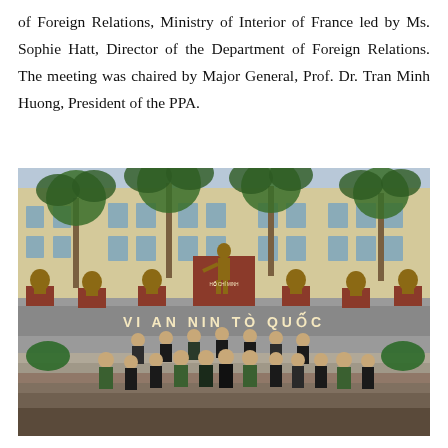of Foreign Relations, Ministry of Interior of France led by Ms. Sophie Hatt, Director of the Department of Foreign Relations. The meeting was chaired by Major General, Prof. Dr. Tran Minh Huong, President of the PPA.
[Figure (photo): Group photo of officials in front of a building with a statue and busts, with text 'VI AN NINH TO QUOC' on the wall. Some participants wear green Vietnamese police uniforms, others wear business suits. Large palm trees visible in the background.]